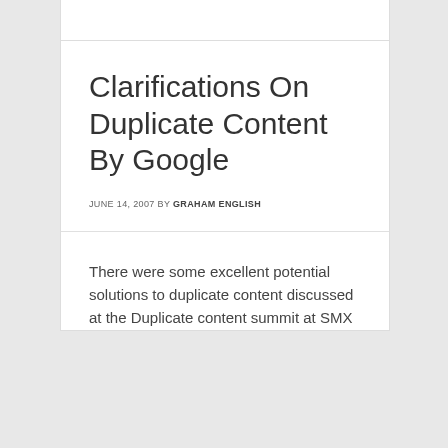Clarifications On Duplicate Content By Google
JUNE 14, 2007 BY GRAHAM ENGLISH
There were some excellent potential solutions to duplicate content discussed at the Duplicate content summit at SMX